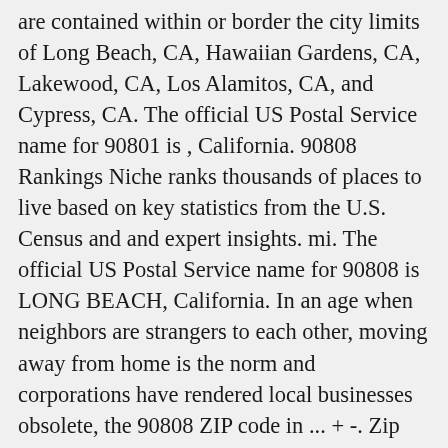are contained within or border the city limits of Long Beach, CA, Hawaiian Gardens, CA, Lakewood, CA, Los Alamitos, CA, and Cypress, CA. The official US Postal Service name for 90801 is , California. 90808 Rankings Niche ranks thousands of places to live based on key statistics from the U.S. Census and and expert insights. mi. The official US Postal Service name for 90808 is LONG BEACH, California. In an age when neighbors are strangers to each other, moving away from home is the norm and corporations have rendered local businesses obsolete, the 90808 ZIP code in ... + -. Zip code 90808 is located in Long Beach, California. The population is primarily white, and mostly married couples. Explore 90808 zip code map, demographic, social and economic profile. 21 Homes For Sale in Long Beach, CA 90808. Hotels in 90808 - Long Beach CA. There are 59 homes for sale in 90808 with a median listing price of $799,999. Narrow down your search area with an interactive m...